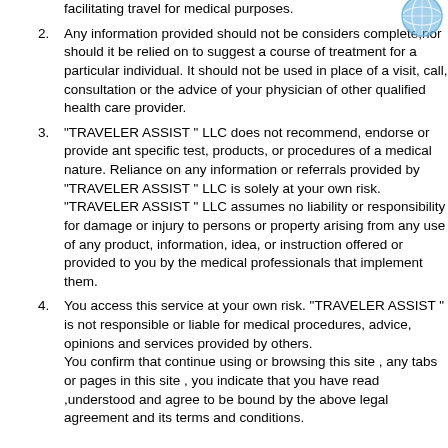facilitating travel for medical purposes.
Any information provided should not be considers complete,nor should it be relied on to suggest a course of treatment for a particular individual. It should not be used in place of a visit, call, consultation or the advice of your physician of other qualified health care provider.
“TRAVELER ASSIST “ LLC does not recommend, endorse or provide ant specific test, products, or procedures of a medical nature. Reliance on any information or referrals provided by “TRAVELER ASSIST “ LLC is solely at your own risk. “TRAVELER ASSIST “ LLC assumes no liability or responsibility for damage or injury to persons or property arising from any use of any product, information, idea, or instruction offered or provided to you by the medical professionals that implement them.
You access this service at your own risk. “TRAVELER ASSIST “ is not responsible or liable for medical procedures, advice, opinions and services provided by others. You confirm that continue using or browsing this site , any tabs or pages in this site , you indicate that you have read ,understood and agree to be bound by the above legal agreement and its terms and conditions.